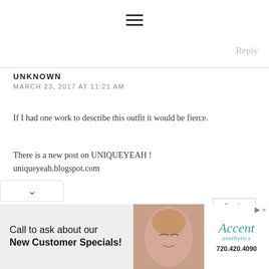☰  Reply
UNKNOWN
MARCH 23, 2017 AT 11:21 AM
If I had one work to describe this outfit it would be fierce.
There is a new post on UNIQUEYEAH !
uniqueyeah.blogspot.com
Reply
FASHIONRADI
MARCH 25, 2017 AT 1:26 PM
I must say, I like your description! Thank you
[Figure (advertisement): Ad banner: 'Call to ask about our New Customer Specials!' with photo of woman and Accent Aesthetics logo, phone number 720.420.4090]